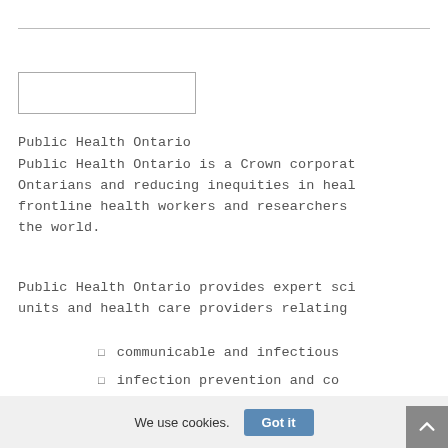[Figure (other): Search input box (empty text field)]
Public Health Ontario
Public Health Ontario is a Crown corporat Ontarians and reducing inequities in heal frontline health workers and researchers the world.
Public Health Ontario provides expert sci units and health care providers relating
communicable and infectious
infection prevention and co